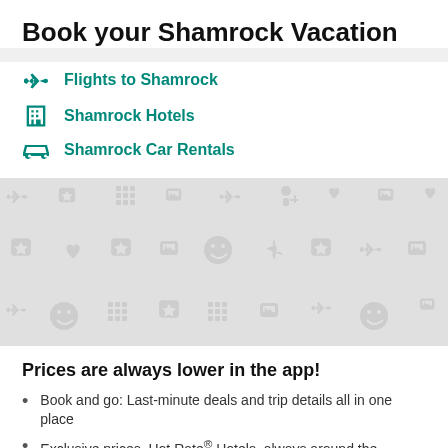Book your Shamrock Vacation
Flights to Shamrock
Shamrock Hotels
Shamrock Car Rentals
[Figure (illustration): Decorative pattern background with travel and hotel icons in light gray on a light gray background]
Prices are always lower in the app!
Book and go: Last-minute deals and trip details all in one place
Exclusive prices, Hot Rate® Hotels, always around the...